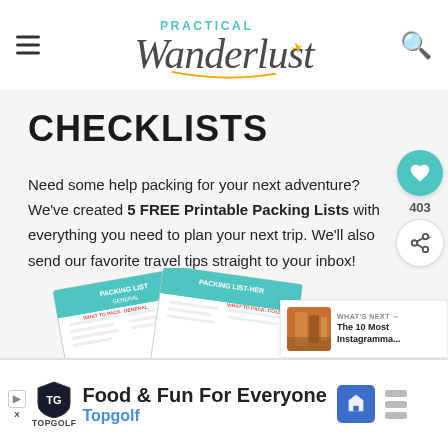Practical Wanderlust
CHECKLISTS
Need some help packing for your next adventure? We've created 5 FREE Printable Packing Lists with everything you need to plan your next trip. We'll also send our favorite travel tips straight to your inbox!
[Figure (illustration): Packing list printable sheets fanned out showing 'PACKING LIST GENERAL' and 'PACKING LIST-HER' documents]
[Figure (screenshot): What's Next widget: thumbnail of colorful street scene with text 'The 10 Most Instagramma...']
Food & Fun For Everyone Topgolf (advertisement banner)